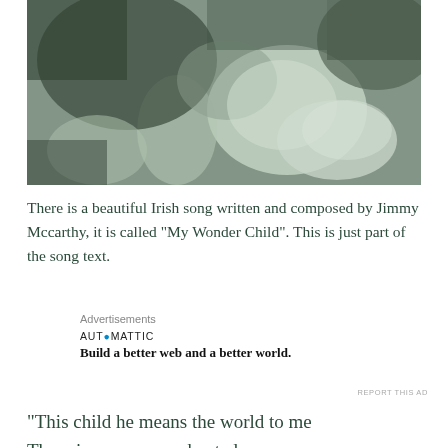[Figure (photo): Close-up black and white photograph with green tint, showing abstract organic shapes, possibly hands or foliage, with soft focus and high contrast areas of light and dark.]
There is a beautiful Irish song written and composed by Jimmy Mccarthy, it is called “My Wonder Child”. This is just part of the song text.
Advertisements
AUT○MATTIC
Build a better web and a better world.
REPORT THIS AD
“This child he means the world to me
There is no more enchanted